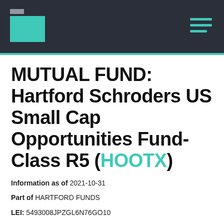[Figure (logo): Hartford Funds logo with teal rectangle on dark background header with hamburger menu icon]
MUTUAL FUND: Hartford Schroders US Small Cap Opportunities Fund-Class R5 (HOOTX)
Information as of 2021-10-31
Part of HARTFORD FUNDS
LEI: 5493008JPZGL6N76GO10